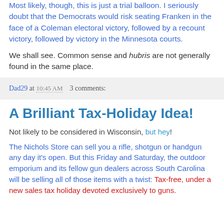Most likely, though, this is just a trial balloon. I seriously doubt that the Democrats would risk seating Franken in the face of a Coleman electoral victory, followed by a recount victory, followed by victory in the Minnesota courts.
We shall see. Common sense and hubris are not generally found in the same place.
Dad29 at 10:45 AM    3 comments:
A Brilliant Tax-Holiday Idea!
Not likely to be considered in Wisconsin, but hey!
The Nichols Store can sell you a rifle, shotgun or handgun any day it's open. But this Friday and Saturday, the outdoor emporium and its fellow gun dealers across South Carolina will be selling all of those items with a twist: Tax-free, under a new sales tax holiday devoted exclusively to guns.